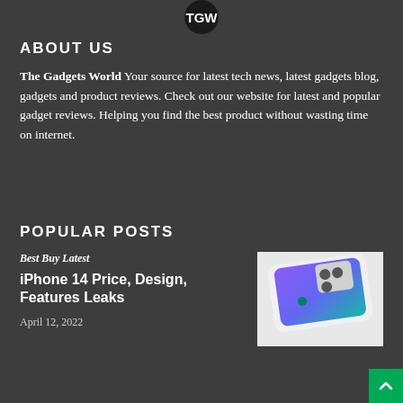[Figure (logo): The Gadgets World logo — circular black badge with white stylized 'TGW' text]
ABOUT US
The Gadgets World Your source for latest tech news, latest gadgets blog, gadgets and product reviews. Check out our website for latest and popular gadget reviews. Helping you find the best product without wasting time on internet.
POPULAR POSTS
Best Buy Latest
iPhone 14 Price, Design, Features Leaks
April 12, 2022
[Figure (photo): Rendered image of iPhone 14 concept — white/silver phone lying flat showing back with triple camera system and teal Apple logo, with gradient purple-teal screen reflection visible]